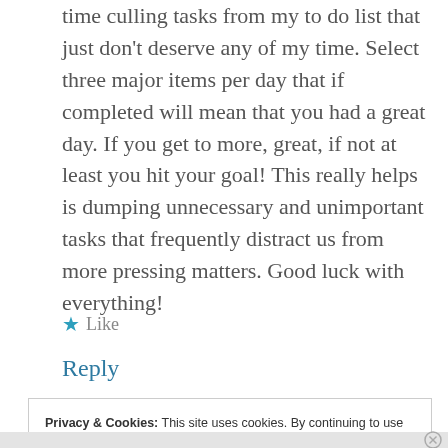time culling tasks from my to do list that just don't deserve any of my time. Select three major items per day that if completed will mean that you had a great day. If you get to more, great, if not at least you hit your goal! This really helps is dumping unnecessary and unimportant tasks that frequently distract us from more pressing matters. Good luck with everything!
★ Like
Reply
Privacy & Cookies: This site uses cookies. By continuing to use this website, you agree to their use. To find out more, including how to control cookies, see here: Cookie Policy
Close and accept